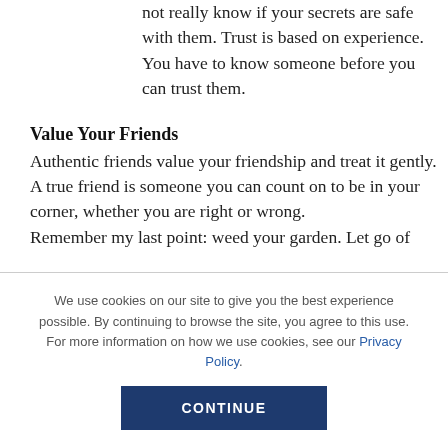not really know if your secrets are safe with them. Trust is based on experience. You have to know someone before you can trust them.
Value Your Friends
Authentic friends value your friendship and treat it gently. A true friend is someone you can count on to be in your corner, whether you are right or wrong.
Remember my last point: weed your garden. Let go of
We use cookies on our site to give you the best experience possible. By continuing to browse the site, you agree to this use. For more information on how we use cookies, see our Privacy Policy.
CONTINUE